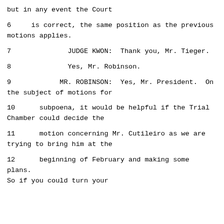but in any event the Court
6    is correct, the same position as the previous motions applies.
7              JUDGE KWON:  Thank you, Mr. Tieger.
8              Yes, Mr. Robinson.
9              MR. ROBINSON:  Yes, Mr. President.  On the subject of motions for
10      subpoena, it would be helpful if the Trial Chamber could decide the
11      motion concerning Mr. Cutileiro as we are trying to bring him at the
12      beginning of February and making some plans. So if you could turn your